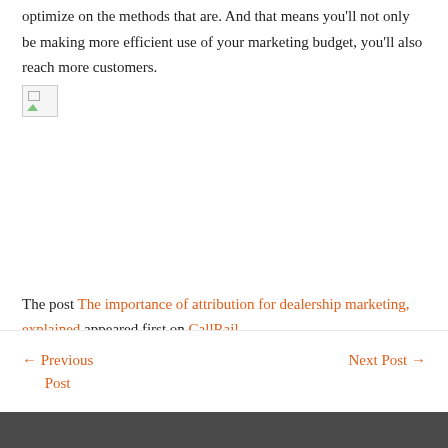optimize on the methods that are. And that means you'll not only be making more efficient use of your marketing budget, you'll also reach more customers.
[Figure (other): Broken/missing image placeholder with small icon]
The post The importance of attribution for dealership marketing, explained appeared first on CallRail.
← Previous Post    Next Post →